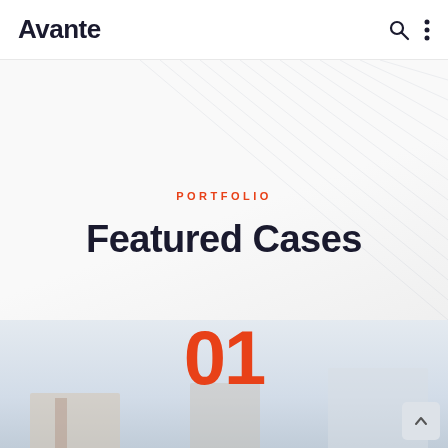Avante
PORTFOLIO
Featured Cases
[Figure (screenshot): Large orange '01' numeral above a blurred office/desk photo at the bottom of the page]